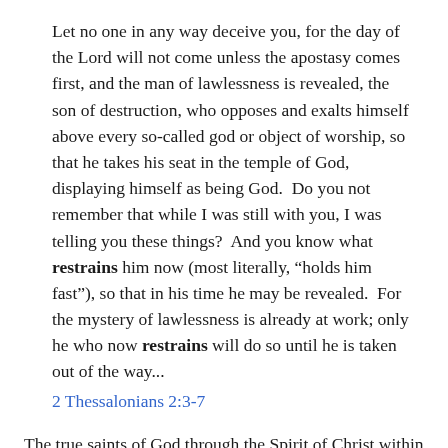Let no one in any way deceive you, for the day of the Lord will not come unless the apostasy comes first, and the man of lawlessness is revealed, the son of destruction, who opposes and exalts himself above every so-called god or object of worship, so that he takes his seat in the temple of God, displaying himself as being God.  Do you not remember that while I was still with you, I was telling you these things?  And you know what restrains him now (most literally, “holds him fast”), so that in his time he may be revealed.  For the mystery of lawlessness is already at work; only he who now restrains will do so until he is taken out of the way...
2 Thessalonians 2:3-7
The true saints of God through the Spirit of Christ within them are what hold fast and restrain the man of lawlessness–through their prayers to God and righteousness (cf. Gen 18:22-33, 19:23-29).  But when the apostasy comes and so many have fallen